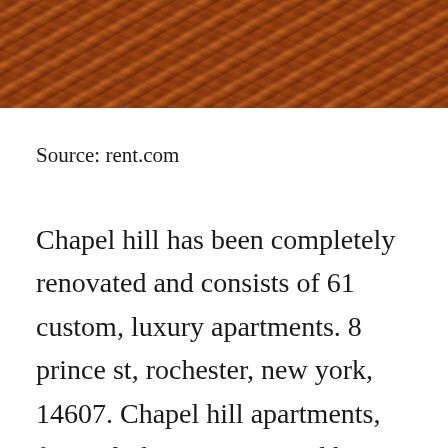[Figure (photo): Close-up photo of a hardwood floor with diagonal wood planks in reddish-brown tones]
Source: rent.com
Chapel hill has been completely renovated and consists of 61 custom, luxury apartments. 8 prince st, rochester, new york, 14607. Chapel hill apartments, formerly known as sacred heart academy is one of flower city management◆s accomplishments.this breathtaking landmark, built in t[CLOSE X]◆s, is located on